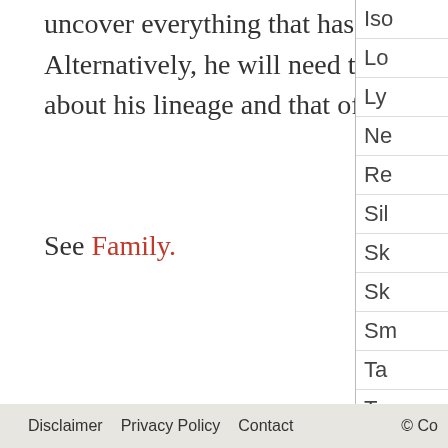uncover everything that has happened to the women of the clan. Alternatively, he will need to ask members of the family and of the clan about his lineage and that of the women of his lineage.
See Family.
Iso
Lo
Ly
Ne
Re
Sil
Sk
Sk
Sm
Ta
To
Un
Us
Vi
Disclaimer   Privacy Policy   Contact   © Co